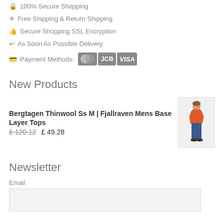🔒 100% Secure Shopping
✈ Free Shipping & Return Shipping
👍 Secure Shopping SSL Encryption
↩ As Soon As Possible Delivery
Payment Methods: [Mastercard] [JCB] [VISA]
New Products
Bergtagen Thinwool Ss M | Fjallraven Mens Base Layer Tops £ 120.12  £ 49.28
[Figure (photo): Man wearing orange t-shirt and blue jeans]
Newsletter
Email
[email input field]